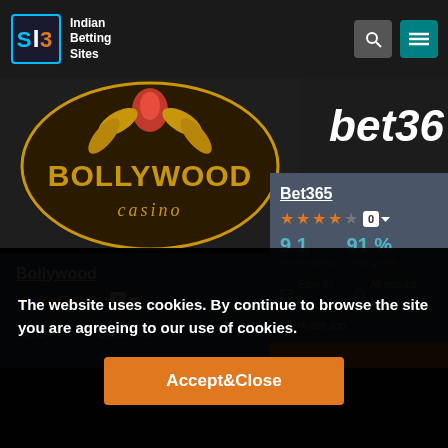[Figure (logo): Indian Betting Sites logo with IBS icon and text]
[Figure (logo): Bollywood Casino logo with ornate golden design on dark background]
[Figure (logo): bet365 banner text partially visible]
Bollywood
9.2   9.2 %
Bet365
9.1   91 %
Review rating   Odds Quality
Easy to bet   All popular spor
Mobile app
The website uses cookies. By continue to browse the site you are agreeing to our use of cookies.
Accept&Close